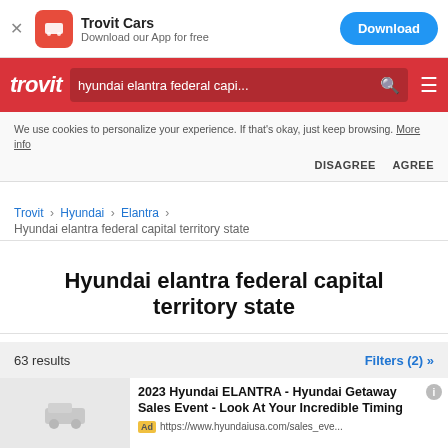[Figure (screenshot): Trovit Cars app download banner with red icon, title 'Trovit Cars', subtitle 'Download our App for free', and blue Download button]
[Figure (screenshot): Trovit red navigation bar with logo, search box showing 'hyundai elantra federal capi...', search icon, and hamburger menu]
We use cookies to personalize your experience. If that's okay, just keep browsing. More info
DISAGREE   AGREE
Trovit › Hyundai › Elantra › Hyundai elantra federal capital territory state
Hyundai elantra federal capital territory state
63 results   Filters (2) »
2023 Hyundai ELANTRA - Hyundai Getaway Sales Event - Look At Your Incredible Timing
Ad https://www.hyundaiusa.com/sales_eve...